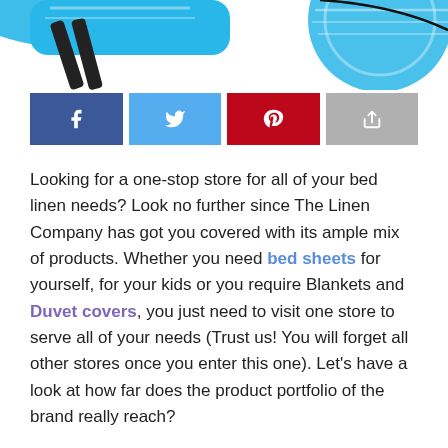[Figure (illustration): Partial illustration of blue and white graphic objects at top of page (cropped, showing only bottom portion)]
[Figure (infographic): Social sharing buttons row: Facebook (dark blue with f icon), Twitter (light blue with bird icon), Pinterest (red with pin icon), Share (grey with arrow icon)]
Looking for a one-stop store for all of your bed linen needs? Look no further since The Linen Company has got you covered with its ample mix of products. Whether you need bed sheets for yourself, for your kids or you require Blankets and Duvet covers, you just need to visit one store to serve all of your needs (Trust us! You will forget all other stores once you enter this one). Let's have a look at how far does the product portfolio of the brand really reach?
From sizes to designs, The Linen Company has products to fit all of your aesthetics and color palettes as the portfolio holds a wide variety of bed sheet set